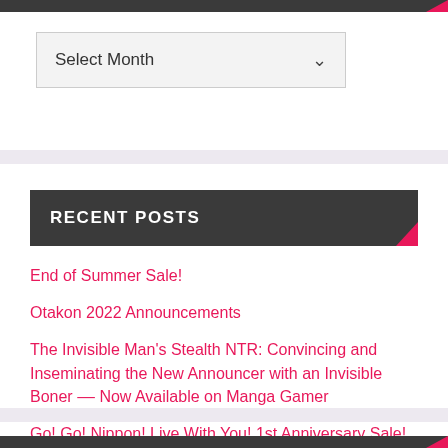[Figure (other): Select Month dropdown widget]
RECENT POSTS
End of Summer Sale!
Otakon 2022 Announcements
The Invisible Man's Stealth NTR: Convincing and Inseminating the New Announcer with an Invisible Boner –– Now Available on Manga Gamer
Go! Go! Nippon! Live With You! 1st Anniversary Sale!
Don't Stop the Camera! ~Hidden Desires of a Young Wife~ Now Available on MangaGamer!